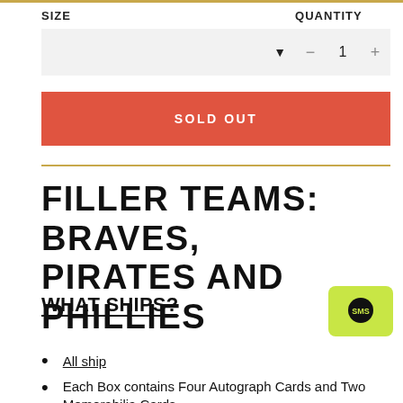SIZE
QUANTITY
SOLD OUT
FILLER TEAMS: BRAVES, PIRATES AND PHILLIES
WHAT SHIPS?
All ship
Each Box contains Four Autograph Cards and Two Memorabilia Cards